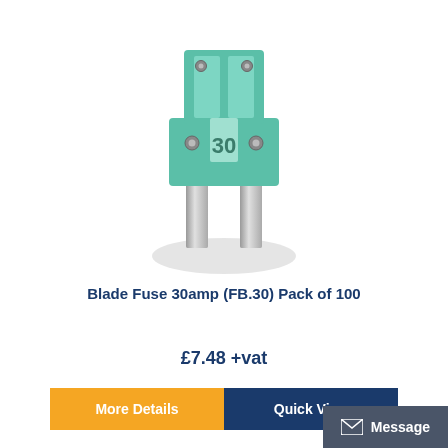[Figure (photo): A green 30amp blade fuse (ATC/ATO style) with two silver metal prongs, translucent green plastic body with '30' printed on it, photographed on a white background with a slight shadow.]
Blade Fuse 30amp (FB.30) Pack of 100
£7.48 +vat
More Details
Quick View
Message